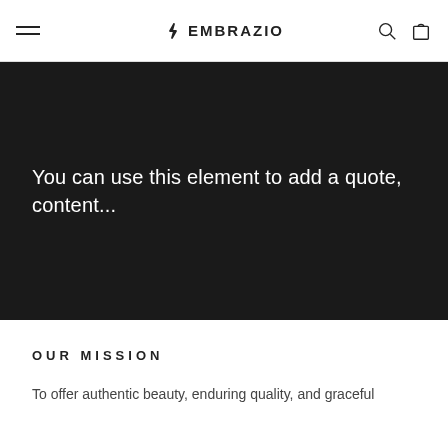EMBRAZIO (navigation bar with hamburger menu, logo, search and cart icons)
You can use this element to add a quote, content...
OUR MISSION
To offer authentic beauty, enduring quality, and graceful